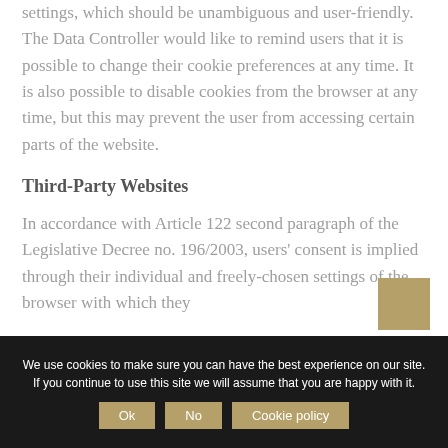settings, which should be unambiguous and user-friendly. The Data Controller would like to remind users that it is possible to change their cookie preferences at any time. It is also possible to disable cookies from the browser at any time, but this may prevent the user from accessing certain parts of the website.
Third-Party Websites
In accordance with Article 122 second paragraph of the Legislative Decree no. 196/2003, users' consent is implied through their individual and freely-chosen settings of the browser with which they
We use cookies to make sure you can have the best experience on our site. If you continue to use this site we will assume that you are happy with it.